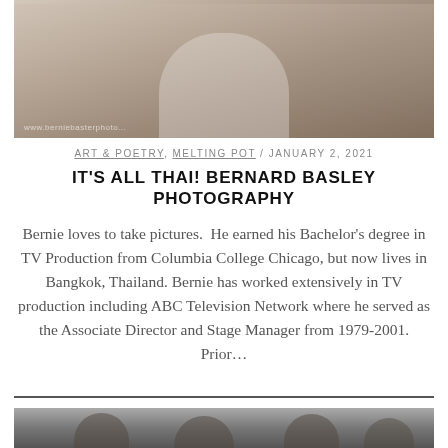[Figure (photo): Photo of a child wearing a white t-shirt with a graphic, outdoors. Watermark text visible at bottom left.]
ART & POETRY, MELTING POT / JANUARY 2, 2021
IT'S ALL THAI! BERNARD BASLEY PHOTOGRAPHY
Bernie loves to take pictures.  He earned his Bachelor's degree in TV Production from Columbia College Chicago, but now lives in Bangkok, Thailand. Bernie has worked extensively in TV production including ABC Television Network where he served as the Associate Director and Stage Manager from 1979-2001. Prior...
[Figure (photo): Black and white photo of what appears to be figurines or sculptures of men wearing hats.]